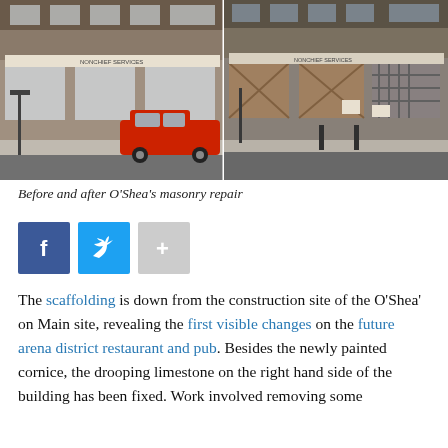[Figure (photo): Two side-by-side street-level photos of a building before and after O'Shea's masonry repair. Left photo shows building facade with a red pickup truck parked in front. Right photo shows the same building with boarded up windows and darker appearance.]
Before and after O'Shea's masonry repair
[Figure (infographic): Social sharing buttons: Facebook (dark blue with f icon), Twitter (light blue with bird icon), and a gray plus button]
The scaffolding is down from the construction site of the O'Shea' on Main site, revealing the first visible changes on the future arena district restaurant and pub. Besides the newly painted cornice, the drooping limestone on the right hand side of the building has been fixed. Work involved removing some